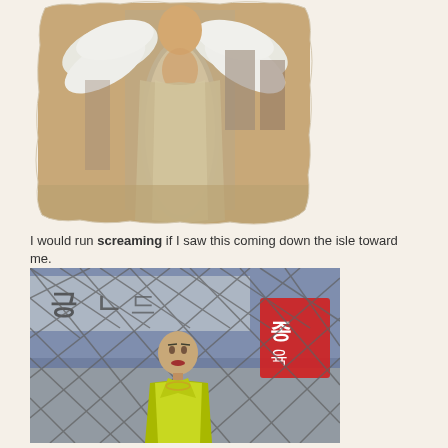[Figure (photo): A person wearing a silver/satin gown and large white feathered wings, holding something, standing in what appears to be a hallway or event space. The photo has a scalloped/irregular torn edge effect.]
I would run screaming if I saw this coming down the isle toward me.
[Figure (photo): A mannequin in a yellow/chartreuse outfit displayed in what appears to be a shop window in Korea, with Korean signage visible in the background including red and white signs. The window has a diamond lattice pattern overlay.]